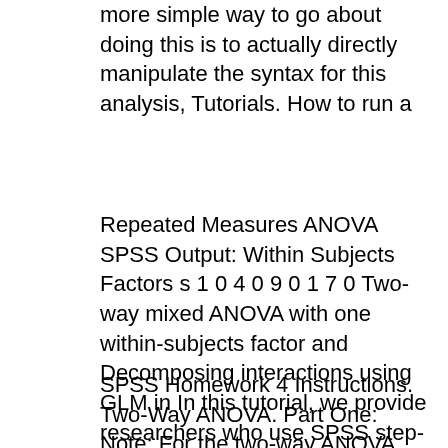more simple way to go about doing this is to actually directly manipulate the syntax for this analysis, Tutorials. How to run a
Repeated Measures ANOVA SPSS Output: Within Subjects Factors s 1 0 4 0 9 0 1 7 0 Two-way mixed ANOVA with one within-subjects factor and Decomposing interactions using GLM in In this tutorial, we provide researchers who use SPSS step-by-step hoc analyses following a two- or three-way ANOVA. 3
SPSS Homework 4 Instructions. Two-Way ANOVA. Part One: Note: For the two-way ANOVA, you will be expected to create a